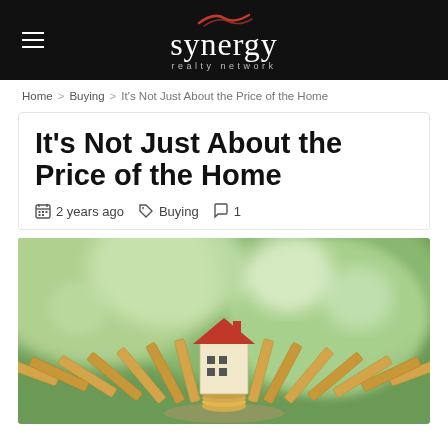synergy realty network
Home > Buying > It's Not Just About the Price of the Home
It's Not Just About the Price of the Home
2 years ago  Buying  1
[Figure (photo): Miniature wooden house model with red roof sitting on coins, surrounded by falling wooden dominoes, with blurred green background]